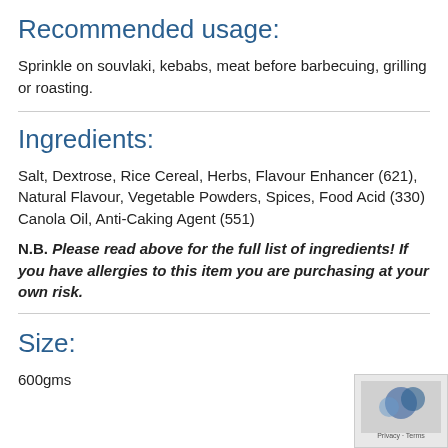Recommended usage:
Sprinkle on souvlaki, kebabs, meat before barbecuing, grilling or roasting.
Ingredients:
Salt, Dextrose, Rice Cereal, Herbs, Flavour Enhancer (621), Natural Flavour, Vegetable Powders, Spices, Food Acid (330) Canola Oil, Anti-Caking Agent (551)
N.B. Please read above for the full list of ingredients! If you have allergies to this item you are purchasing at your own risk.
Size:
600gms
[Figure (other): Partially visible watermark/privacy overlay image in bottom-right corner]